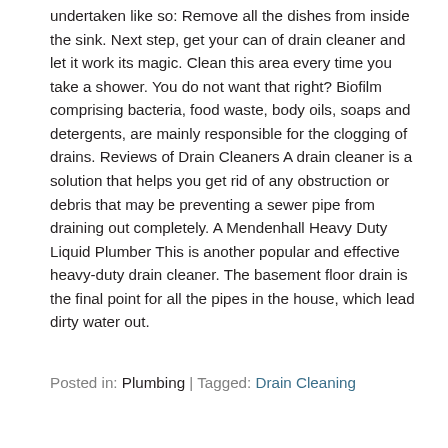undertaken like so: Remove all the dishes from inside the sink. Next step, get your can of drain cleaner and let it work its magic. Clean this area every time you take a shower. You do not want that right? Biofilm comprising bacteria, food waste, body oils, soaps and detergents, are mainly responsible for the clogging of drains. Reviews of Drain Cleaners A drain cleaner is a solution that helps you get rid of any obstruction or debris that may be preventing a sewer pipe from draining out completely. A Mendenhall Heavy Duty Liquid Plumber This is another popular and effective heavy-duty drain cleaner. The basement floor drain is the final point for all the pipes in the house, which lead dirty water out.
Posted in: Plumbing | Tagged: Drain Cleaning